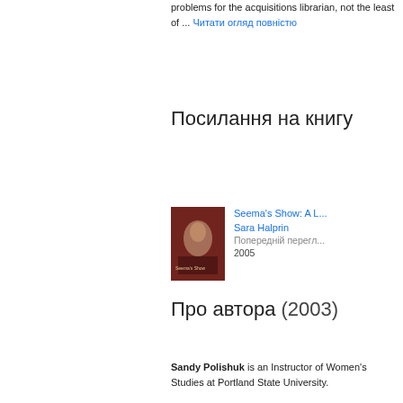problems for the acquisitions librarian, not the least of ... Читати огляд повністю
Посилання на книгу
[Figure (photo): Book cover of Seema's Show, dark red/brown with a portrait photo]
Seema's Show: A L...
Sara Halprin
Попередній перегл...
2005
Про автора (2003)
Sandy Polishuk is an Instructor of Women's Studies at Portland State University.